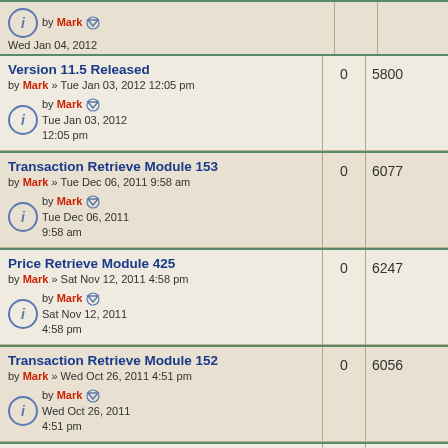by Mark - Wed Jan 04, 2012 10:10 am
Version 11.5 Released - by Mark » Tue Jan 03, 2012 12:05 pm - 0 replies, 5800 views
Transaction Retrieve Module 153 - by Mark » Tue Dec 06, 2011 9:58 am - 0 replies, 6077 views
Price Retrieve Module 425 - by Mark » Sat Nov 12, 2011 4:58 pm - 0 replies, 6247 views
Transaction Retrieve Module 152 - by Mark » Wed Oct 26, 2011 4:51 pm - 0 replies, 6056 views
Transaction Retrieve Module 151 - by Mark » Tue Oct 25, 2011 12:54 pm - 0 replies, 6053 views